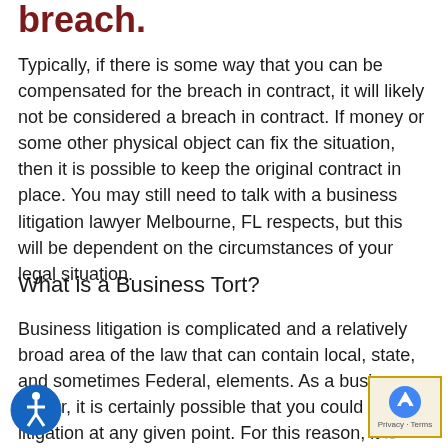breach.
Typically, if there is some way that you can be compensated for the breach in contract, it will likely not be considered a breach in contract. If money or some other physical object can fix the situation, then it is possible to keep the original contract in place. You may still need to talk with a business litigation lawyer Melbourne, FL respects, but this will be dependent on the circumstances of your legal situation.
What is a Business Tort?
Business litigation is complicated and a relatively broad area of the law that can contain local, state, and sometimes Federal, elements. As a business owner, it is certainly possible that you could face litigation at any given point. For this reason, it is recommended that you have a good business...